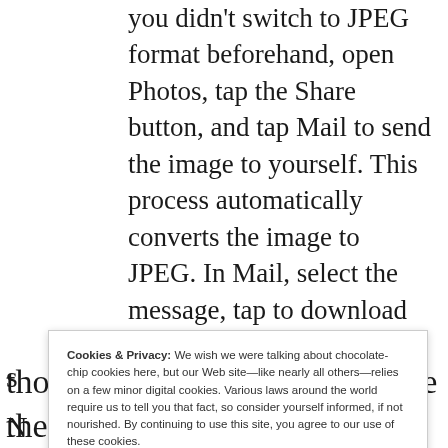you didn't switch to JPEG format beforehand, open Photos, tap the Share button, and tap Mail to send the image to yourself. This process automatically converts the image to JPEG. In Mail, select the message, tap to download it, and then press and hold the image. You can then choose Save Image to put it back into Photos as a JPEG.
Cookies & Privacy: We wish we were talking about chocolate-chip cookies here, but our Web site—like nearly all others—relies on a few minor digital cookies. Various laws around the world require us to tell you that fact, so consider yourself informed, if not nourished. By continuing to use this site, you agree to our use of these cookies. Cookie and Privacy Notice
those transfer methods preserve the HEIC